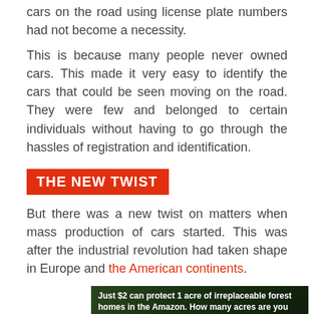cars on the road using license plate numbers had not become a necessity.
This is because many people never owned cars. This made it very easy to identify the cars that could be seen moving on the road. They were few and belonged to certain individuals without having to go through the hassles of registration and identification.
THE NEW TWIST
But there was a new twist on matters when mass production of cars started. This was after the industrial revolution had taken shape in Europe and the American continents.
[Figure (photo): Advertisement banner showing a forest image with text: Just $2 can protect 1 acre of irreplaceable forest homes in the Amazon. How many acres are you willing to protect?]